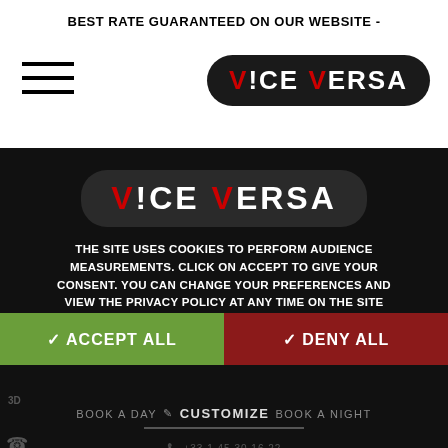BEST RATE GUARANTEED ON OUR WEBSITE -
[Figure (logo): Hamburger menu icon (three horizontal lines) on the left, and Vice Versa hotel logo (dark rounded rectangle with red V letters) on the right, in the white top navigation bar]
[Figure (logo): Vice Versa hotel logo centered on black background - dark rounded rectangle with white uppercase text VICE VERSA, where the V characters are in red]
THE SITE USES COOKIES TO PERFORM AUDIENCE MEASUREMENTS. CLICK ON ACCEPT TO GIVE YOUR CONSENT. YOU CAN CHANGE YOUR PREFERENCES AND VIEW THE PRIVACY POLICY AT ANY TIME ON THE SITE
✓ ACCEPT ALL
✓ DENY ALL
BOOK A DAY  ✏ CUSTOMIZE  BOOK A NIGHT